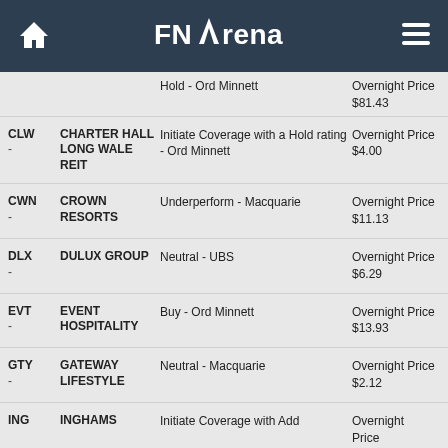FNArena
| Ticker | Company | Action | Price |
| --- | --- | --- | --- |
|  |  | Hold - Ord Minnett | Overnight Price $81.43 |
| CLW - | CHARTER HALL LONG WALE REIT | Initiate Coverage with a Hold rating - Ord Minnett | Overnight Price $4.00 |
| CWN - | CROWN RESORTS | Underperform - Macquarie | Overnight Price $11.13 |
| DLX - | DULUX GROUP | Neutral - UBS | Overnight Price $6.29 |
| EVT - | EVENT HOSPITALITY | Buy - Ord Minnett | Overnight Price $13.93 |
| GTY - | GATEWAY LIFESTYLE | Neutral - Macquarie | Overnight Price $2.12 |
| ING | INGHAMS | Initiate Coverage with Add | Overnight Price |